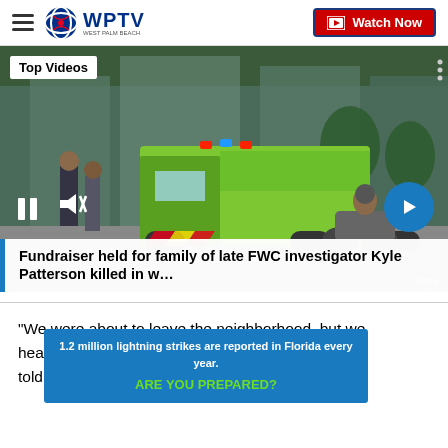WPTV West Palm Beach | Watch Now
[Figure (screenshot): News video thumbnail showing a green ambulance truck and a motorcycle officer on a city street. Overlaid with 'Top Videos' label, pause and mute controls, and a next arrow button.]
Fundraiser held for family of late FWC investigator Kyle Patterson killed in w…
"We were about to leave the neighborhood, but we heard … dera told J
1.2 million lightning strikes are reported in Florida every year. ARE YOU PREPARED?